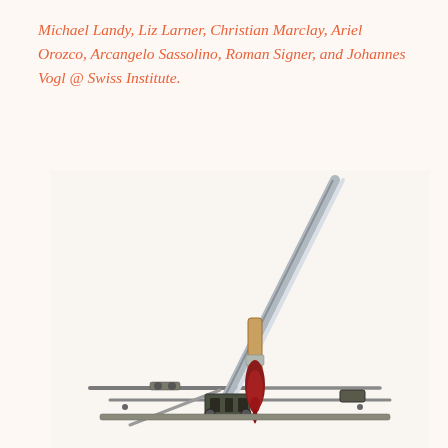Michael Landy, Liz Larner, Christian Marclay, Ariel Orozco, Arcangelo Sassolino, Roman Signer, and Johannes Vogl @ Swiss Institute.
[Figure (photo): A mechanical sculptural apparatus consisting of a long diagonal metal rail/track (silver/gray color) with a paintbrush attached, dipped in red paint, mounted on a cross-shaped metal base with mechanical components, photographed against a white background.]